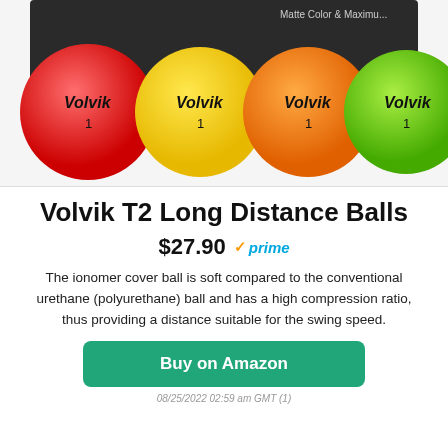[Figure (photo): Product photo showing four Volvik golf balls (red, yellow, orange, green) in front of a dark box with 'Matte Color & Maximum...' text]
Volvik T2 Long Distance Balls
$27.90 ✓prime
The ionomer cover ball is soft compared to the conventional urethane (polyurethane) ball and has a high compression ratio, thus providing a distance suitable for the swing speed.
Buy on Amazon
08/25/2022 02:59 am GMT (1)